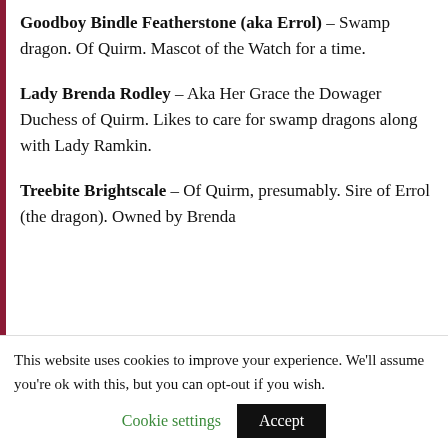Goodboy Bindle Featherstone (aka Errol) – Swamp dragon. Of Quirm. Mascot of the Watch for a time.
Lady Brenda Rodley – Aka Her Grace the Dowager Duchess of Quirm. Likes to care for swamp dragons along with Lady Ramkin.
Treebite Brightscale – Of Quirm, presumably. Sire of Errol (the dragon). Owned by Brenda
This website uses cookies to improve your experience. We'll assume you're ok with this, but you can opt-out if you wish.
Cookie settings  Accept